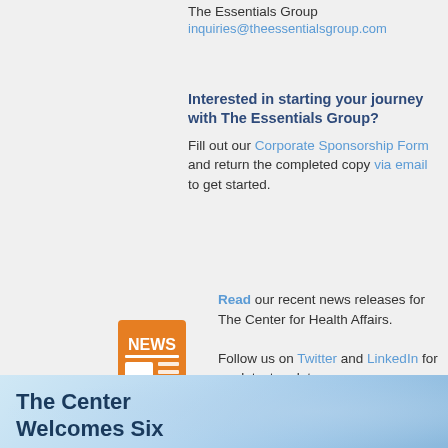The Essentials Group
inquiries@theessentialsgroup.com
Interested in starting your journey with The Essentials Group?
Fill out our Corporate Sponsorship Form and return the completed copy via email to get started.
[Figure (illustration): Orange newspaper/news icon with 'NEWS' text]
Read our recent news releases for The Center for Health Affairs.
Follow us on Twitter and LinkedIn for our latest updates.
The Center Welcomes Six